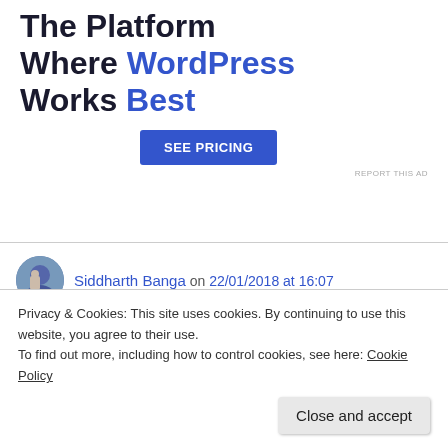The Platform Where WordPress Works Best
[Figure (other): SEE PRICING button (blue CTA button)]
REPORT THIS AD
Siddharth Banga on 22/01/2018 at 16:07
👍 1 👎 0 ℹ Rate This
pretty good! I really liked your vision, I am also
Privacy & Cookies: This site uses cookies. By continuing to use this website, you agree to their use.
To find out more, including how to control cookies, see here: Cookie Policy
Close and accept